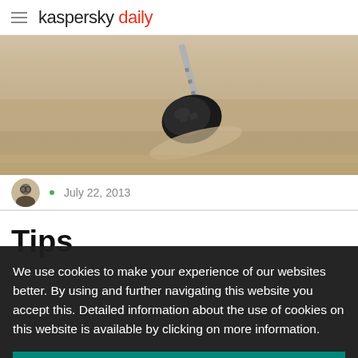kaspersky daily
[Figure (photo): A car key lying in sand, photographed close up. The key has a black plastic fob head and a metal blade partially buried in beige sand.]
July 22, 2013
Tips
We use cookies to make your experience of our websites better. By using and further navigating this website you accept this. Detailed information about the use of cookies on this website is available by clicking on more information.
ACCEPT AND CLOSE